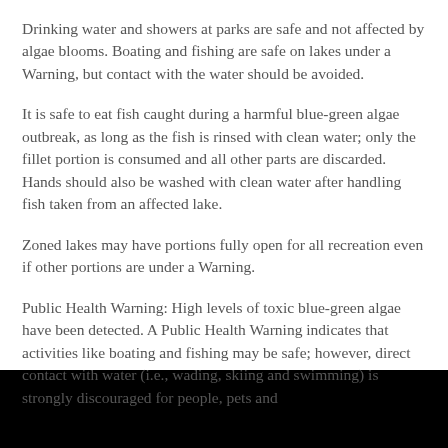Drinking water and showers at parks are safe and not affected by algae blooms. Boating and fishing are safe on lakes under a Warning, but contact with the water should be avoided.
It is safe to eat fish caught during a harmful blue-green algae outbreak, as long as the fish is rinsed with clean water; only the fillet portion is consumed and all other parts are discarded. Hands should also be washed with clean water after handling fish taken from an affected lake.
Zoned lakes may have portions fully open for all recreation even if other portions are under a Warning.
Public Health Warning: High levels of toxic blue-green algae have been detected. A Public Health Warning indicates that activities like boating and fishing may be safe; however, direct contact with water (i.e., wading, skiing and swimming) is strongly discouraged for people, pets and